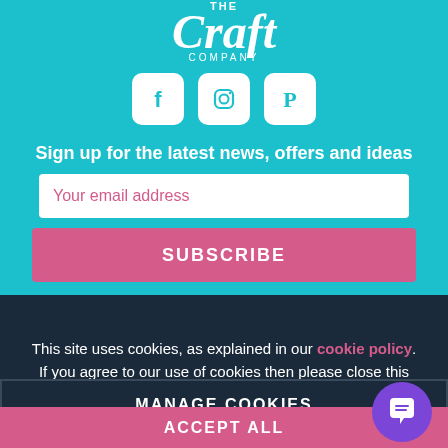[Figure (logo): The Craft Company logo in white text on teal background with italic script for 'Craft']
[Figure (infographic): Social media icons for Facebook, Instagram, and Pinterest in white rounded square boxes on teal background]
Sign up for the latest news, offers and ideas
Your email address
SUBSCRIBE
This site uses cookies, as explained in our cookie policy. If you agree to our use of cookies then please close this message and continue to use this site.
MANAGE COOKIES
ACCEPT ALL